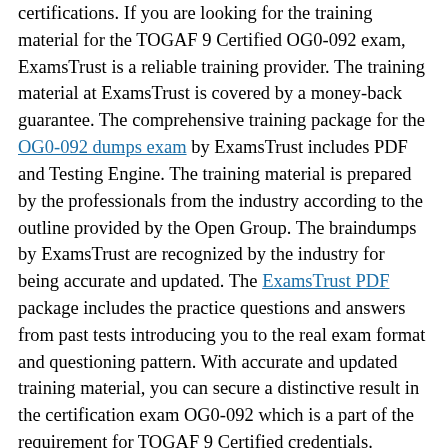certifications. If you are looking for the training material for the TOGAF 9 Certified OG0-092 exam, ExamsTrust is a reliable training provider. The training material at ExamsTrust is covered by a money-back guarantee. The comprehensive training package for the OG0-092 dumps exam by ExamsTrust includes PDF and Testing Engine. The training material is prepared by the professionals from the industry according to the outline provided by the Open Group. The braindumps by ExamsTrust are recognized by the industry for being accurate and updated. The ExamsTrust PDF package includes the practice questions and answers from past tests introducing you to the real exam format and questioning pattern. With accurate and updated training material, you can secure a distinctive result in the certification exam OG0-092 which is a part of the requirement for TOGAF 9 Certified credentials.